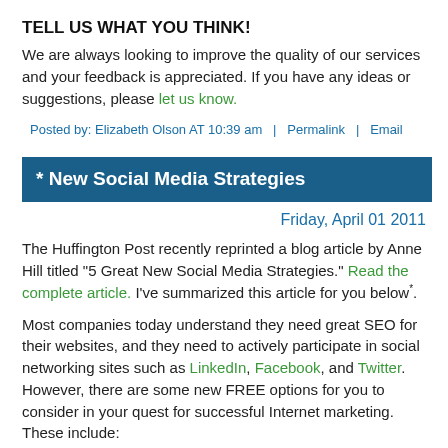TELL US WHAT YOU THINK!
We are always looking to improve the quality of our services and your feedback is appreciated. If you have any ideas or suggestions, please let us know.
Posted by: Elizabeth Olson AT 10:39 am  |  Permalink  |  Email
* New Social Media Strategies
Friday, April 01 2011
The Huffington Post recently reprinted a blog article by Anne Hill titled "5 Great New Social Media Strategies." Read the complete article. I've summarized this article for you below*.
Most companies today understand they need great SEO for their websites, and they need to actively participate in social networking sites such as LinkedIn, Facebook, and Twitter. However, there are some new FREE options for you to consider in your quest for successful Internet marketing. These include: